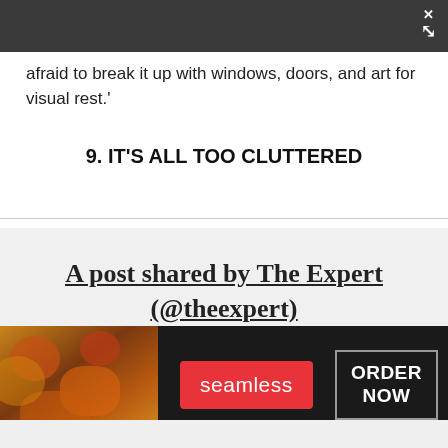afraid to break it up with windows, doors, and art for visual rest.'
9. IT'S ALL TOO CLUTTERED
A post shared by The Expert (@theexpert) A photo posted by on
[Figure (other): Seamless food delivery advertisement banner with pizza image, seamless logo button, and ORDER NOW button]